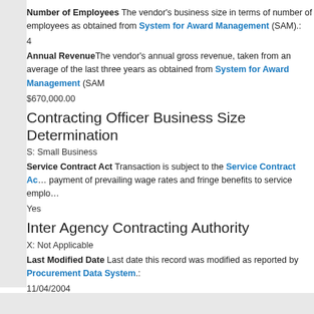Number of Employees The vendor's business size in terms of number of employees as obtained from System for Award Management (SAM).:
4
Annual Revenue The vendor's annual gross revenue, taken from an average of the last three years as obtained from System for Award Management (SAM):
$670,000.00
Contracting Officer Business Size Determination
S: Small Business
Service Contract Act Transaction is subject to the Service Contract Act which requires payment of prevailing wage rates and fringe benefits to service employees.
Yes
Inter Agency Contracting Authority
X: Not Applicable
Last Modified Date Last date this record was modified as reported by the Federal Procurement Data System.:
11/04/2004